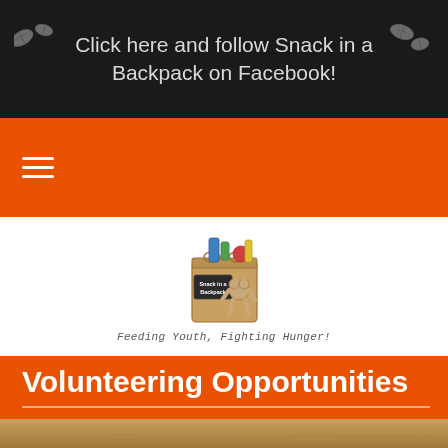Click here and follow Snack in a Backpack on Facebook!
[Figure (logo): Snack in a Backpack logo with grocery bag illustration and tagline 'Feeding Youth, Fighting Hunger!']
Volunteering Opportunities
[Figure (photo): Bottom edge of a wood/table surface photo in orange-toned color]